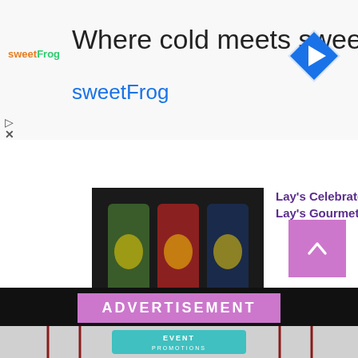[Figure (screenshot): SweetFrog advertisement banner with logo, tagline 'Where cold meets sweet', navigation icon (blue diamond with arrow), play and close controls]
Lay's Celebrates Launch of Extraordinary Lay's Gourmet...
[Figure (photo): Thumbnail image of Lay's Gourmet chip bags]
ADVERTISEMENT
[Figure (infographic): Event Promotions image showing red carpet barriers and teal EVENT PROMOTIONS sign]